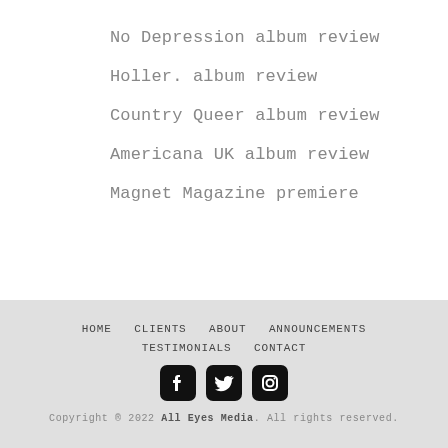No Depression album review
Holler. album review
Country Queer album review
Americana UK album review
Magnet Magazine premiere
HOME  CLIENTS  ABOUT  ANNOUNCEMENTS  TESTIMONIALS  CONTACT
Copyright ® 2022 All Eyes Media. All rights reserved.